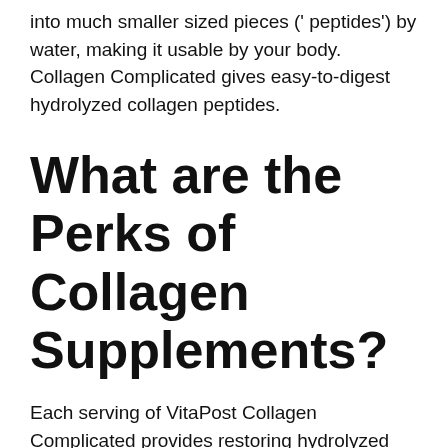into much smaller sized pieces (' peptides') by water, making it usable by your body. Collagen Complicated gives easy-to-digest hydrolyzed collagen peptides.
What are the Perks of Collagen Supplements?
Each serving of VitaPost Collagen Complicated provides restoring hydrolyzed collagen. Collagen supplements are not only great for your skin but also for your hair, nails, and joints. It can aid with joint pain and arthritis as well as making you feel a lot more younger.